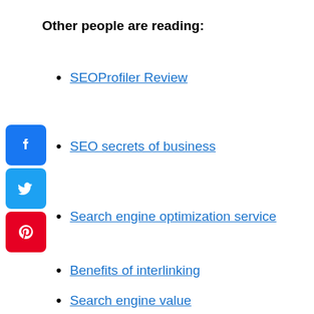Other people are reading:
SEOProfiler Review
SEO secrets of business
Search engine optimization service
Benefits of interlinking
Search engine value
[Figure (illustration): Social media share icons: Facebook (blue), Twitter (light blue), Pinterest (red)]